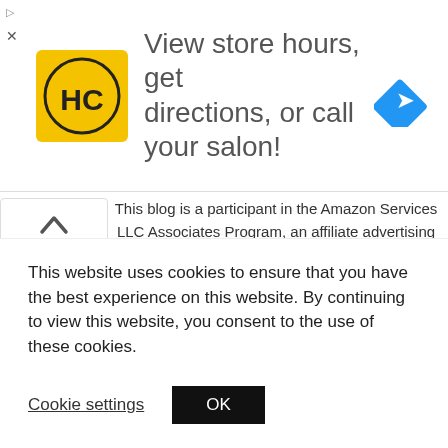[Figure (screenshot): Ad banner: HC logo (yellow circle with HC letters), text 'View store hours, get directions, or call your salon!', blue diamond navigation icon]
This blog is a participant in the Amazon Services LLC Associates Program, an affiliate advertising program designed to provide a means for sites to earn advertising fees by advertising and linking to Amazon.com.
[Figure (screenshot): Social share sidebar with 28 SHARES count, Facebook (f), Twitter (bird), Pinterest (p) buttons]
[Figure (logo): Domestic blog logo partially visible at bottom]
This website uses cookies to ensure that you have the best experience on this website. By continuing to view this website, you consent to the use of these cookies.
Cookie settings    OK